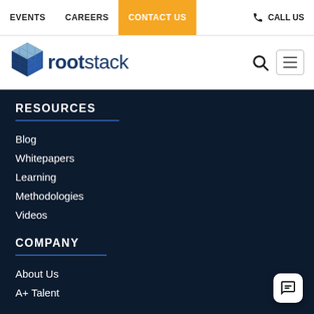EVENTS  CAREERS  CONTACT US  CALL US
[Figure (logo): Rootstack logo with cube icon and wordmark]
RESOURCES
Blog
Whitepapers
Learning
Methodologies
Videos
COMPANY
About Us
A+ Talent